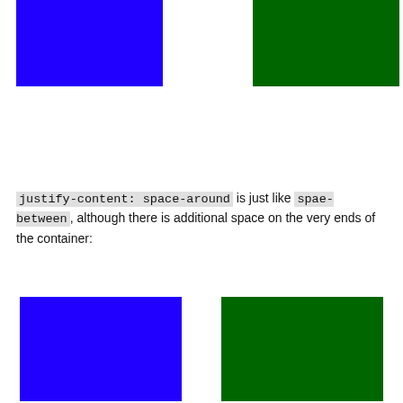[Figure (illustration): Two colored rectangles side by side at the top: a blue rectangle on the left and a green rectangle on the right, demonstrating space-between flex layout with no extra space on ends.]
justify-content: space-around is just like spae-between, although there is additional space on the very ends of the container:
[Figure (illustration): Two colored rectangles side by side at the bottom: a blue rectangle on the left and a green rectangle on the right, demonstrating space-around flex layout with extra space on the ends.]